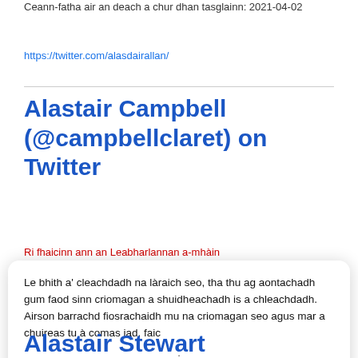Ceann-fatha air an deach a chur dhan tasglainn: 2021-04-02
https://twitter.com/alasdairallan/
Alastair Campbell (@campbellclaret) on Twitter
Ri fhaicinn ann an Leabharlannan a-mhàin
Le bhith a' cleachdadh na làraich seo, tha thu ag aontachadh gum faod sinn criomagan a shuidheachadh is a chleachdadh. Airson barrachd fiosrachaidh mu na criomagan seo agus mar a chuireas tu à comas iad, faic
.
Ceart ma-tha
Alastair Stewart